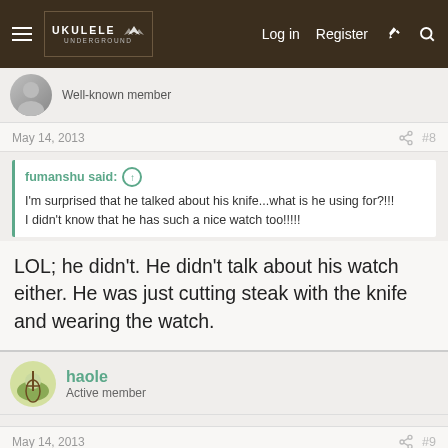Ukulele Underground — Log in | Register
Well-known member
May 14, 2013  #8
fumanshu said: I'm surprised that he talked about his knife...what is he using for?!!! I didn't know that he has such a nice watch too!!!!!
LOL; he didn't. He didn't talk about his watch either. He was just cutting steak with the knife and wearing the watch.
haole
Active member
May 14, 2013  #9
I kind of secretly hope he starts doing full sets with gear that